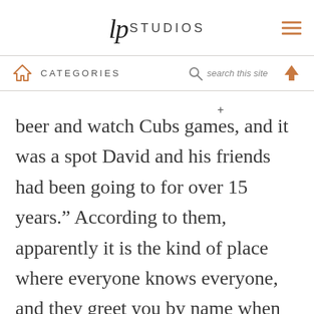lp STUDIOS
CATEGORIES   search this site
beer and watch Cubs games, and it was a spot David and his friends had been going to for over 15 years.” According to them, apparently it is the kind of place where everyone knows everyone, and they greet you by name when you walk in the door. This is Bridges.